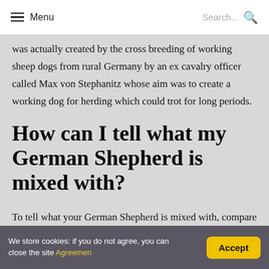Menu | Search...
was actually created by the cross breeding of working sheep dogs from rural Germany by an ex cavalry officer called Max von Stephanitz whose aim was to create a working dog for herding which could trot for long periods.
How can I tell what my German Shepherd is mixed with?
To tell what your German Shepherd is mixed with, compare the coat features, body type, muzzle, ear, and tail shape, to
We store cookies: if you do not agree, you can close the site Agreemen